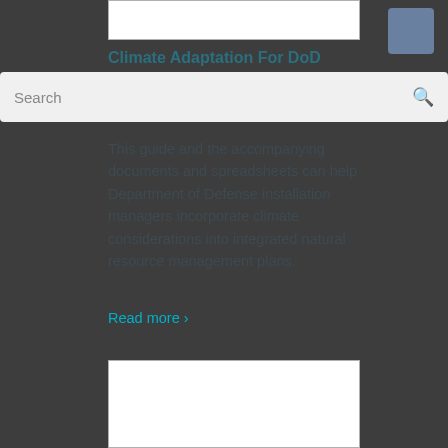[Figure (other): Top image placeholder box (white rectangle with border)]
Climate Adaptation For DoD
This guide and the accompanying documents and spreadsheets can help Department of Defense installation managers incorporate climate considerations into integrated natural resource management plans.
Read more ›
[Figure (other): Bottom image placeholder box (white rectangle with border)]